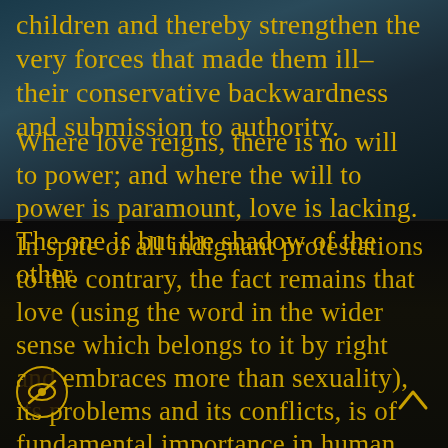children and thereby strengthen the very forces that made them ill–their conservative backwardness and submission to authority.
Where love reigns, there is no will to power; and where the will to power is paramount, love is lacking. The one is but the shadow of the other.
In spite of all indignant protestations to the contrary, the fact remains that love (using the word in the wider sense which belongs to it by right and embraces more than sexuality), its problems and its conflicts, is of fundamental importance in human life and, as careful inquiry consistently shows, is of far greater significance than the individual suspects.